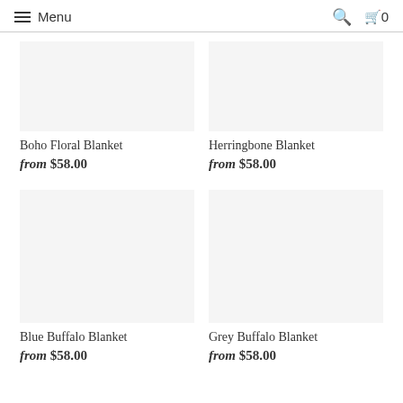Menu | Search | Cart 0
Boho Floral Blanket
from $58.00
Herringbone Blanket
from $58.00
Blue Buffalo Blanket
from $58.00
Grey Buffalo Blanket
from $58.00